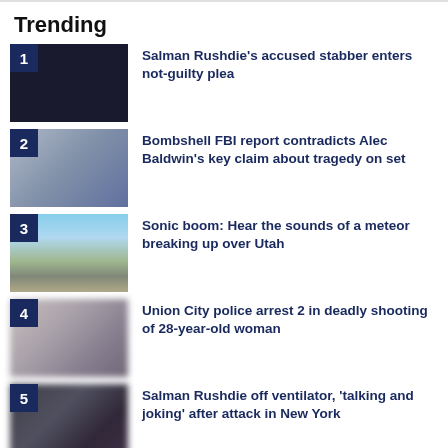Trending
1. Salman Rushdie's accused stabber enters not-guilty plea
2. Bombshell FBI report contradicts Alec Baldwin's key claim about tragedy on set
3. Sonic boom: Hear the sounds of a meteor breaking up over Utah
4. Union City police arrest 2 in deadly shooting of 28-year-old woman
5. Salman Rushdie off ventilator, 'talking and joking' after attack in New York